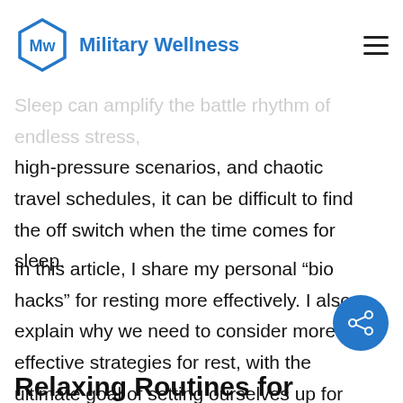Military Wellness
Sleep can amplify the battle rhythm of high-pressure scenarios, and chaotic travel schedules, it can be difficult to find the off switch when the time comes for sleep.
In this article, I share my personal “bio hacks” for resting more effectively. I also explain why we need to consider more effective strategies for rest, with the ultimate goal of setting ourselves up for higher quality sleep.
Relaxing Routines for